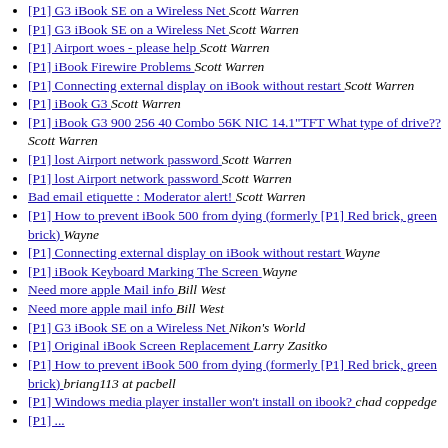[P1] G3 iBook SE on a Wireless Net  Scott Warren
[P1] G3 iBook SE on a Wireless Net  Scott Warren
[P1] Airport woes - please help  Scott Warren
[P1] iBook Firewire Problems  Scott Warren
[P1] Connecting external display on iBook without restart  Scott Warren
[P1] iBook G3  Scott Warren
[P1] iBook G3 900 256 40 Combo 56K NIC 14.1"TFT What type of drive??  Scott Warren
[P1] lost Airport network password  Scott Warren
[P1] lost Airport network password  Scott Warren
Bad email etiquette : Moderator alert!  Scott Warren
[P1] How to prevent iBook 500 from dying (formerly [P1] Red brick, green brick)  Wayne
[P1] Connecting external display on iBook without restart  Wayne
[P1] iBook Keyboard Marking The Screen  Wayne
Need more apple Mail info  Bill West
Need more apple mail info  Bill West
[P1] G3 iBook SE on a Wireless Net  Nikon's World
[P1] Original iBook Screen Replacement  Larry Zasitko
[P1] How to prevent iBook 500 from dying (formerly [P1] Red brick, green brick)  briang113 at pacbell
[P1] Windows media player installer won't install on ibook?  chad coppedge
[P1] ...